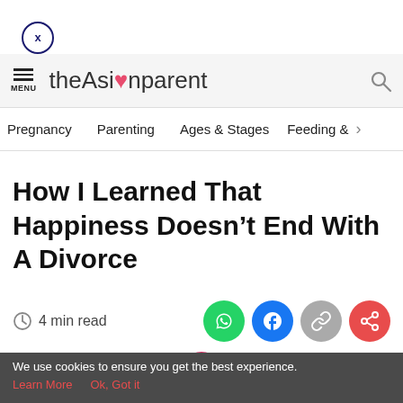[Figure (logo): Close button - circle with X inside]
theAsianparent
Pregnancy   Parenting   Ages & Stages   Feeding & >
How I Learned That Happiness Doesn't End With A Divorce
4 min read
[Figure (infographic): Social share icons: WhatsApp (green), Facebook (blue), link (grey), share (red)]
[Figure (screenshot): Bottom navigation bar with Tools, Articles, Home (pink circle with pregnant woman), Feed, Poll]
We use cookies to ensure you get the best experience. Learn More   Ok, Got it